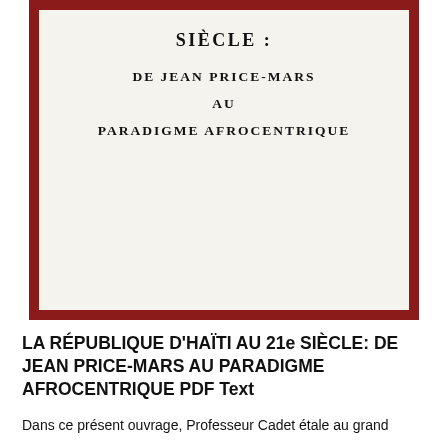[Figure (photo): Book cover photo showing a dark red/maroon cover with a white/cream inner page displaying the title 'SIÈCLE : DE JEAN PRICE-MARS AU PARADIGME AFROCENTRIQUE' in bold uppercase serif text.]
LA RÉPUBLIQUE D'HAÏTI AU 21e SIÈCLE: DE JEAN PRICE-MARS AU PARADIGME AFROCENTRIQUE PDF Text
Dans ce présent ouvrage, Professeur Cadet étale au grand